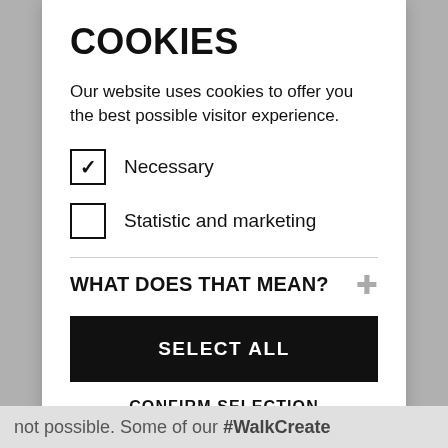COOKIES
Our website uses cookies to offer you the best possible visitor experience.
☑ Necessary
☐ Statistic and marketing
WHAT DOES THAT MEAN?
SELECT ALL
CONFIRM SELECTION
not possible. Some of our #WalkCreate